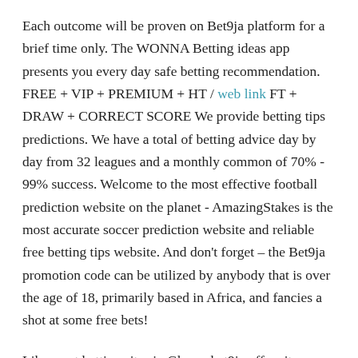Each outcome will be proven on Bet9ja platform for a brief time only. The WONNA Betting ideas app presents you every day safe betting recommendation. FREE + VIP + PREMIUM + HT / web link FT + DRAW + CORRECT SCORE We provide betting tips predictions. We have a total of betting advice day by day from 32 leagues and a monthly common of 70% - 99% success. Welcome to the most effective football prediction website on the planet - AmazingStakes is the most accurate soccer prediction website and reliable free betting tips website. And don't forget – the Bet9ja promotion code can be utilized by anybody that is over the age of 18, primarily based in Africa, and fancies a shot at some free bets!
Like most betting sites in Ghana, bet9ja offers its clients an opportunity to benefit from the features of their gaming sites. If